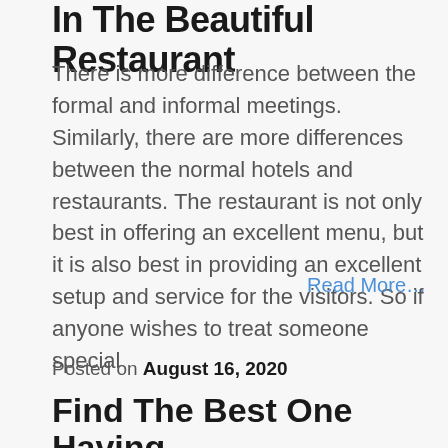In The Beautiful Restaurant
There is more difference between the formal and informal meetings. Similarly, there are more differences between the normal hotels and restaurants. The restaurant is not only best in offering an excellent menu, but it is also best in providing an excellent setup and service for the visitors. So if anyone wishes to treat someone special
Read More…
Posted on August 16, 2020
Find The Best One Having The Desired Featu...